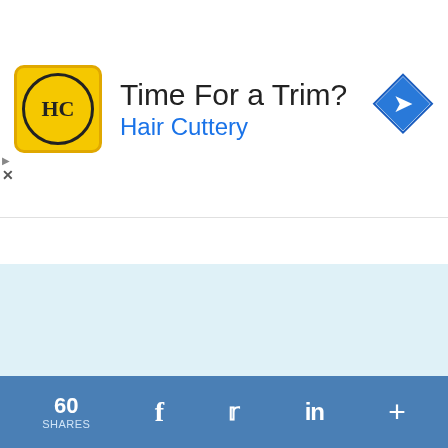[Figure (screenshot): Ad banner for Hair Cuttery: yellow logo with HC initials inside circle, bold text 'Time For a Trim?' and blue text 'Hair Cuttery', blue navigation arrow diamond icon top right]
pairwise_t_test(score ~ gr
This website uses cookies to ensure you get the best experience on our website, to personalize content and ads and to analyze our traffic. We also share information about your use of our site with our social media, advertising and analytics partners such as Google. By using our site you agree to our use of cookies  Learn more
Decline
OK
60 SHARES  f  t  in  +